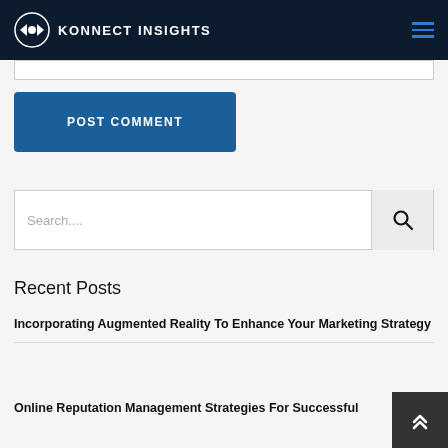KONNECT INSIGHTS
[Figure (screenshot): Partial input/textarea field at the top of the content area]
POST COMMENT
Search....
Recent Posts
Incorporating Augmented Reality To Enhance Your Marketing Strategy
Online Reputation Management Strategies For Successful